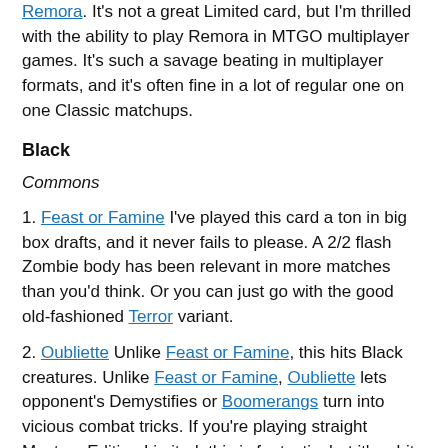Remora. It's not a great Limited card, but I'm thrilled with the ability to play Remora in MTGO multiplayer games. It's such a savage beating in multiplayer formats, and it's often fine in a lot of regular one on one Classic matchups.
Black
Commons
1. Feast or Famine I've played this card a ton in big box drafts, and it never fails to please. A 2/2 flash Zombie body has been relevant in more matches than you'd think. Or you can just go with the good old-fashioned Terror variant.
2. Oubliette Unlike Feast or Famine, this hits Black creatures. Unlike Feast or Famine, Oubliette lets opponent's Demystifies or Boomerangs turn into vicious combat tricks. If you're playing straight Masters Edition Limited, this is fantastic, but it's a bit worse with Tenth in